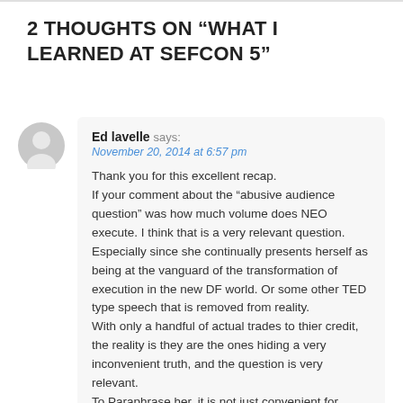2 THOUGHTS ON “WHAT I LEARNED AT SEFCON 5”
Ed lavelle says:
November 20, 2014 at 6:57 pm

Thank you for this excellent recap.
If your comment about the “abusive audience question” was how much volume does NEO execute. I think that is a very relevant question. Especially since she continually presents herself as being at the vanguard of the transformation of execution in the new DF world. Or some other TED type speech that is removed from reality.
With only a handful of actual trades to thier credit, the reality is they are the ones hiding a very inconvenient truth, and the question is very relevant.
To Paraphrase her, it is not just convenient for Bloomberg to mention that customers get